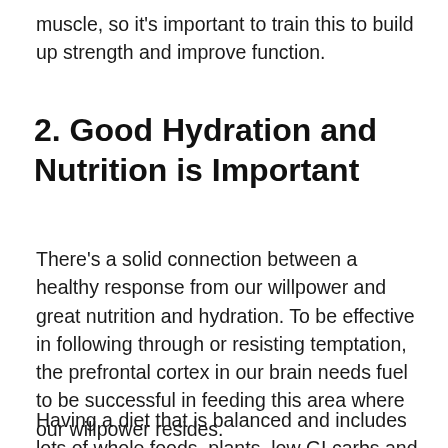muscle, so it's important to train this to build up strength and improve function.
2. Good Hydration and Nutrition is Important
There's a solid connection between a healthy response from our willpower and great nutrition and hydration. To be effective in following through or resisting temptation, the prefrontal cortex in our brain needs fuel to be successful in feeding this area where our willpower resides.
Having a diet that is balanced and includes lots of whole foods, plants, low GI carbs and healthy